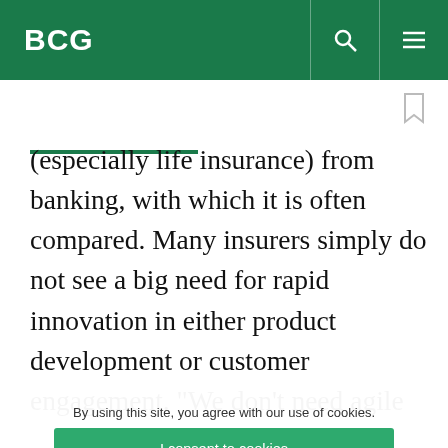BCG
(especially life insurance) from banking, with which it is often compared. Many insurers simply do not see a big need for rapid innovation in either product development or customer engagement. “We don’t need agile to drive in-force premiums,” a
By using this site, you agree with our use of cookies.
I consent to cookies
Want to know more?
Read our Cookie Policy